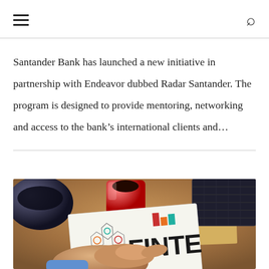☰ [hamburger menu] [search icon]
Santander Bank has launched a new initiative in partnership with Endeavor dubbed Radar Santander. The program is designed to provide mentoring, networking and access to the bank’s international clients and…
[Figure (photo): A fintech-themed photo showing a desk with a red mug, dark bowl, laptop keyboard, a paper document with hexagonal diagrams and a partial 'FINTE...' text, chart bars, and a hand touching the document. The 'Start' label is visible. Warm wood desk background.]